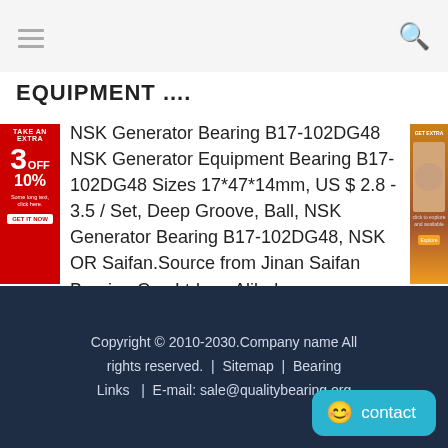≡  🔍
EQUIPMENT ....
NSK Generator Bearing B17-102DG48 NSK Generator Equipment Bearing B17-102DG48 Sizes 17*47*14mm, US $ 2.8 - 3.5 / Set, Deep Groove, Ball, NSK Generator Bearing B17-102DG48, NSK OR Saifan.Source from Jinan Saifan Bearing Co., Ltd. on Alibaba.com.
Copyright © 2010-2030.Company name All rights reserved.  |  Sitemap  |  Bearing Links  |  E-mail: sale@qualitybearing.org